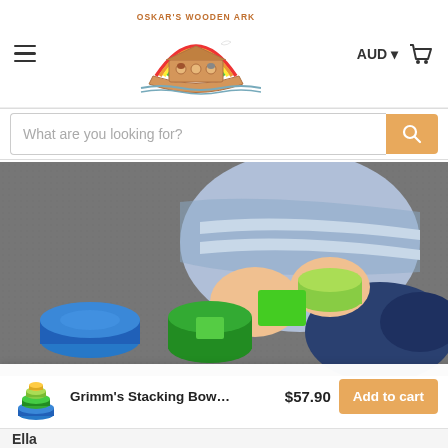Oskar's Wooden Ark — AUD — Cart
What are you looking for?
[Figure (photo): Baby/toddler playing with Grimm's colourful stacking bowls on a grey carpet. A blue cylinder, green cups and bright green block are visible.]
[Figure (photo): Small product thumbnail of Grimm's Stacking Bowls Ocean colours]
Grimm's Stacking Bowls Ocea… $57.90
Add to cart
Ella